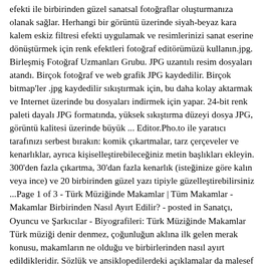efekti ile birbirinden güzel sanatsal fotoğraflar oluşturmanıza olanak sağlar. Herhangi bir görüntü üzerinde siyah-beyaz kara kalem eskiz filtresi efekti uygulamak ve resimlerinizi sanat eserine dönüştürmek için renk efektleri fotoğraf editörümüzü kullanın.jpg. Birleşmiş Fotoğraf Uzmanları Grubu. JPG uzantılı resim dosyaları atandı. Birçok fotoğraf ve web grafik JPG kaydedilir. Birçok bitmap'ler .jpg kaydedilir sıkıştırmak için, bu daha kolay aktarmak ve Internet üzerinde bu dosyaları indirmek için yapar. 24-bit renk paleti dayalı JPG formatında, yüksek sıkıştırma düzeyi dosya JPG, görüntü kalitesi üzerinde büyük ... Editor.Pho.to ile yaratıcı tarafınızı serbest bırakın: komik çıkartmalar, tarz çerçeveler ve kenarlıklar, ayrıca kişiselleştirebileceğiniz metin başlıkları ekleyin. 300'den fazla çıkartma, 30'dan fazla kenarlık (isteğinize göre kalın veya ince) ve 20 birbirinden güzel yazı tipiyle güzelleştirebilirsiniz ...Page 1 of 3 - Türk Müziğinde Makamlar | Tüm Makamlar - Makamlar Birbirinden Nasıl Ayırt Edilir? - posted in Sanatçı, Oyuncu ve Şarkıcılar - Biyografileri: Türk Müziğinde Makamlar Türk müziği denir denmez, çoğunluğun aklına ilk gelen merak konusu, makamların ne olduğu ve birbirlerinden nasıl ayırt edildikleridir. Sözlük ve ansiklopedilerdeki açıklamalar da malesef ...İşte bu noktadan sonrası da sizin yaratıcılığınıza ve resim konusundaki becerinize kalıyor. Gri ve siyah tonları üzerinde oynayarak veya çizgileri belirginleştirerek resmi optimum uygunluğa getirebilme şansınız var. Elbette ki işimiz tam olarak burada bitmiyor. Sonrasında görseli renklendirme adımına